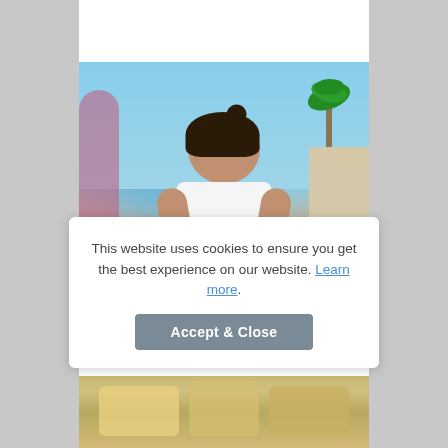[Figure (photo): Top portion of a photo showing a child at a colorful table with yellow background]
[Figure (photo): Photo of a young girl with dark hair in a white shirt and green bracelet, holding a pink basket with flowers outdoors with palm trees and blue sky in background]
This website uses cookies to ensure you get the best experience on our website. Learn more.
Accept & Close
[Figure (photo): Bottom portion of a food photo showing what appears to be a grilled or baked dish]